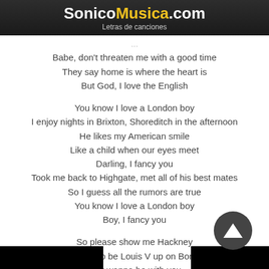SonicoMusica.com — Letras de canciones
Babe, don't threaten me with a good time
They say home is where the heart is
But God, I love the English
You know I love a London boy
I enjoy nights in Brixton, Shoreditch in the afternoon
He likes my American smile
Like a child when our eyes meet
Darling, I fancy you
Took me back to Highgate, met all of his best mates
So I guess all the rumors are true
You know I love a London boy
Boy, I fancy you
So please show me Hackney
Doesn't have to be Louis V up on Bond Street
Just wanna be with you